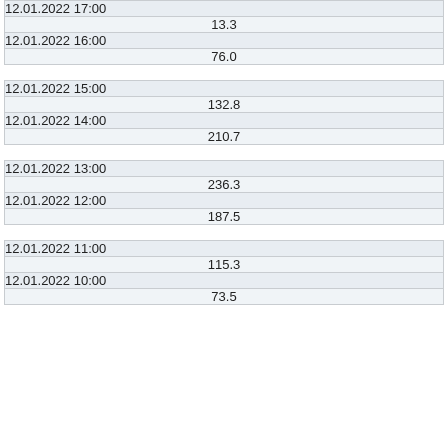| 12.01.2022 17:00 |  |
|  | 13.3 |
| 12.01.2022 16:00 |  |
|  | 76.0 |
| 12.01.2022 15:00 |  |
|  | 132.8 |
| 12.01.2022 14:00 |  |
|  | 210.7 |
| 12.01.2022 13:00 |  |
|  | 236.3 |
| 12.01.2022 12:00 |  |
|  | 187.5 |
| 12.01.2022 11:00 |  |
|  | 115.3 |
| 12.01.2022 10:00 |  |
|  | 73.5 |